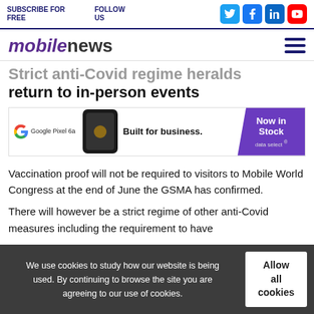SUBSCRIBE FOR FREE | FOLLOW US
Strict anti-Covid regime heralds return to in-person events
[Figure (infographic): Google Pixel 6a advertisement banner: 'Built for business. Now in Stock' - data select]
Vaccination proof will not be required to visitors to Mobile World Congress at the end of June the GSMA has confirmed.
There will however be a strict regime of other anti-Covid measures including the requirement to have
We use cookies to study how our website is being used. By continuing to browse the site you are agreeing to our use of cookies.